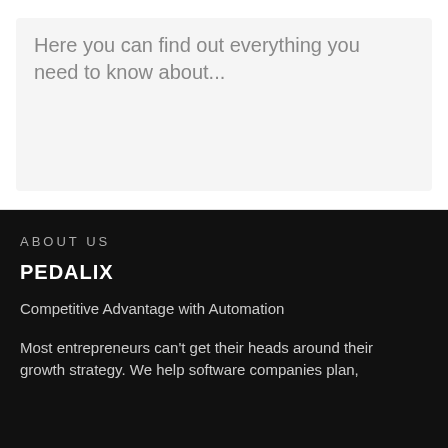Here you can find out everything you need to know about...
ABOUT US
PEDALIX
Competitive Advantage with Automation
Most entrepreneurs can't get their heads around their growth strategy. We help software companies plan,